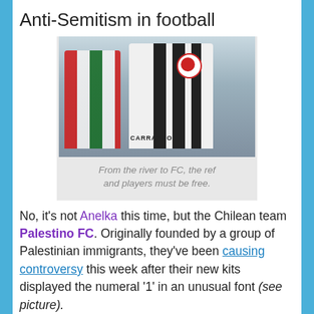Anti-Semitism in football
[Figure (photo): Football players in jerseys, one wearing a white kit with dark stripes and a badge, another in red/white/green. The word CARRASCO is visible on one shirt.]
From the river to FC, the ref and players must be free.
No, it's not Anelka this time, but the Chilean team Palestino FC. Originally founded by a group of Palestinian immigrants, they've been causing controversy this week after their new kits displayed the numeral '1' in an unusual font (see picture).